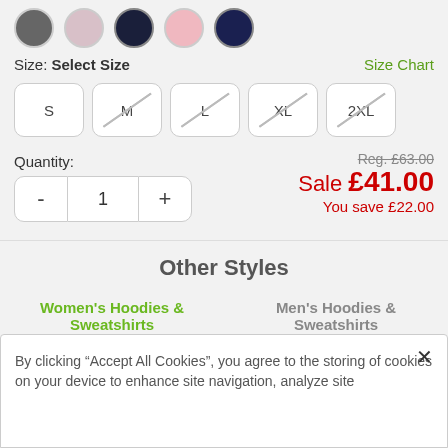[Figure (other): Row of color swatches: dark grey, light pink/lilac, dark navy, light pink, dark navy circle options for product color selection]
Size: Select Size
Size Chart
S
M (unavailable)
L (unavailable)
XL (unavailable)
2XL (unavailable)
Quantity:
Reg. £63.00
Sale £41.00
You save £22.00
Other Styles
Women's Hoodies & Sweatshirts
Men's Hoodies & Sweatshirts
By clicking “Accept All Cookies”, you agree to the storing of cookies on your device to enhance site navigation, analyze site